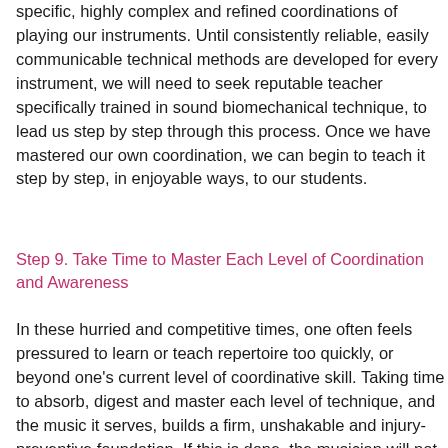specific, highly complex and refined coordinations of playing our instruments. Until consistently reliable, easily communicable technical methods are developed for every instrument, we will need to seek reputable teacher specifically trained in sound biomechanical technique, to lead us step by step through this process. Once we have mastered our own coordination, we can begin to teach it step by step, in enjoyable ways, to our students.
Step 9. Take Time to Master Each Level of Coordination and Awareness
In these hurried and competitive times, one often feels pressured to learn or teach repertoire too quickly, or beyond one's current level of coordinative skill. Taking time to absorb, digest and master each level of technique, and the music it serves, builds a firm, unshakable and injury-preventive foundation. If this is done, the musician will not bump into a coordinative ceiling or stumble over technical obstacles. And